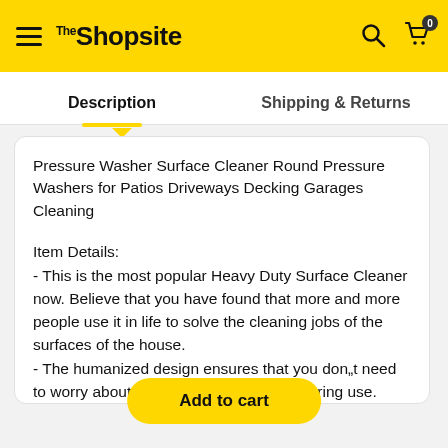The Shopsite
Description | Shipping & Returns
Pressure Washer Surface Cleaner Round Pressure Washers for Patios Driveways Decking Garages Cleaning
Item Details:
- This is the most popular Heavy Duty Surface Cleaner now. Believe that you have found that more and more people use it in life to solve the cleaning jobs of the surfaces of the house.
- The humanized design ensures that you don„t need to worry about it will cause you trouble during use.
- Hard Bristles firmly locks the sewage in the circle and
Add to cart